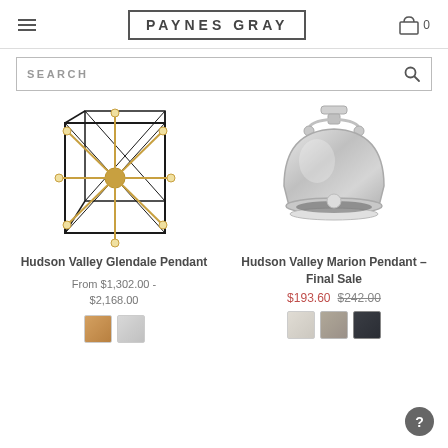PAYNES GRAY
SEARCH
[Figure (photo): Hudson Valley Glendale Pendant: geometric black wireframe cage with brass sputnik multi-arm light fixture inside]
Hudson Valley Glendale Pendant
From $1,302.00 - $2,168.00
[Figure (photo): Hudson Valley Marion Pendant: chrome/polished nickel dome-shaped pendant light with industrial mounting bracket]
Hudson Valley Marion Pendant – Final Sale
$193.60  $242.00